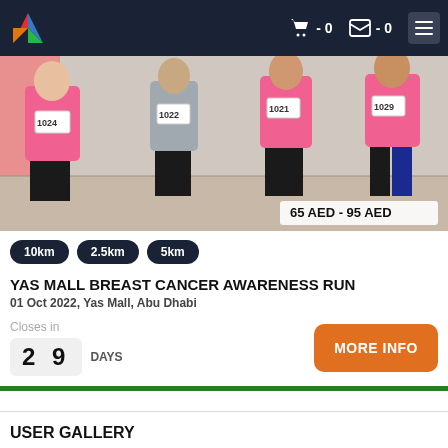Navigation bar with logo, cart (0), gallery (0), and menu
[Figure (photo): Runners in pink breast cancer awareness shirts with race bibs (1024, 1022, 1021, 1029) running indoors at Yas Mall. Price badge shows 65 AED - 95 AED.]
10km
2.5km
5km
YAS MALL BREAST CANCER AWARENESS RUN
01 Oct 2022, Yas Mall, Abu Dhabi
Closes in 29 DAYS
MORE INFO
USER GALLERY